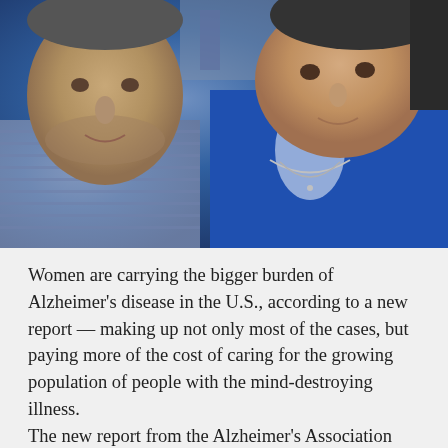[Figure (photo): Close-up photo of two elderly people (a man and a woman) outdoors, both wearing blue clothing. The man appears to have gray stubble and is wearing a striped shirt. The woman is wearing a blue top with a necklace.]
Women are carrying the bigger burden of Alzheimer's disease in the U.S., according to a new report — making up not only most of the cases, but paying more of the cost of caring for the growing population of people with the mind-destroying illness.
The new report from the Alzheimer's Association paints Alzheimer's as a disease that disproportionately affects women, both as patients and as caregivers. It points out that women in their 60s are about twice as likely to